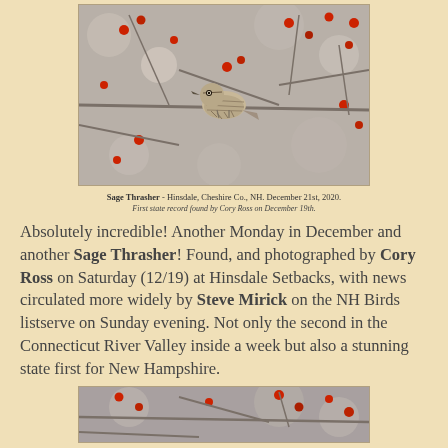[Figure (photo): A Sage Thrasher bird perched on a branch surrounded by red berries, photographed in muted winter colors.]
Sage Thrasher - Hinsdale, Cheshire Co., NH. December 21st, 2020.
First state record found by Cory Ross on December 19th.
Absolutely incredible! Another Monday in December and another Sage Thrasher! Found, and photographed by Cory Ross on Saturday (12/19) at Hinsdale Setbacks, with news circulated more widely by Steve Mirick on the NH Birds listserve on Sunday evening. Not only the second in the Connecticut River Valley inside a week but also a stunning state first for New Hampshire.
[Figure (photo): Second photo of the Sage Thrasher perched among red berries, partially visible at bottom of page.]